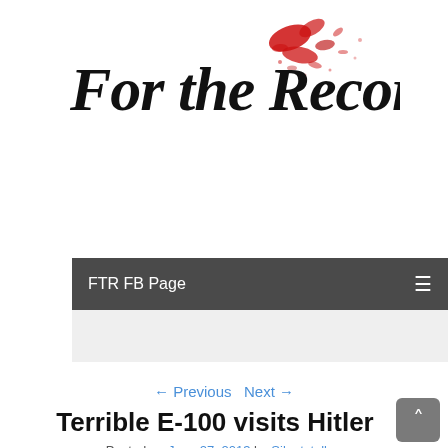[Figure (logo): Blog logo: 'For the Record' in handwritten italic script with red ink splatter accent]
FTR FB Page
← Previous   Next →
Terrible E-100 visits Hitler
Posted on June 27, 2013 by Silentstalker